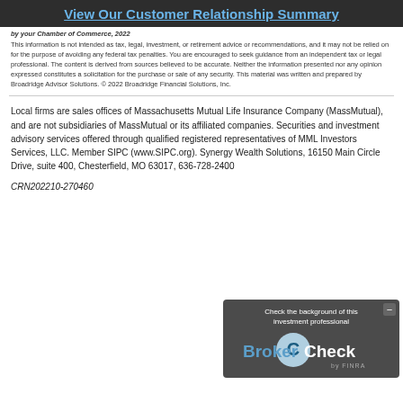View Our Customer Relationship Summary
by your Chamber of Commerce, 2022
This information is not intended as tax, legal, investment, or retirement advice or recommendations, and it may not be relied on for the purpose of avoiding any federal tax penalties. You are encouraged to seek guidance from an independent tax or legal professional. The content is derived from sources believed to be accurate. Neither the information presented nor any opinion expressed constitutes a solicitation for the purchase or sale of any security. This material was written and prepared by Broadridge Advisor Solutions. © 2022 Broadridge Financial Solutions, Inc.
Local firms are sales offices of Massachusetts Mutual Life Insurance Company (MassMutual), and are not subsidiaries of MassMutual or its affiliated companies. Securities and investment advisory services offered through qualified registered representatives of MML Investors Services, LLC. Member SIPC (www.SIPC.org). Synergy Wealth Solutions, 16150 Main Circle Drive, suite 400, Chesterfield, MO 63017, 636-728-2400
CRN202210-270460
[Figure (other): BrokerCheck by FINRA overlay widget with text 'Check the background of this investment professional' and the BrokerCheck logo]